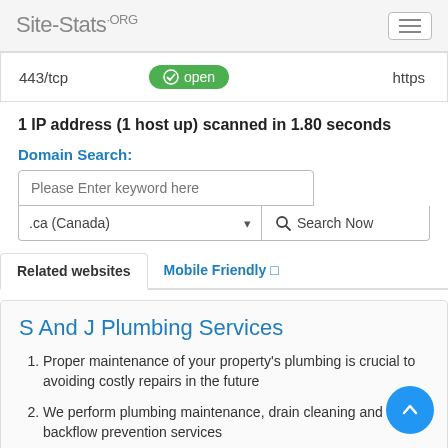Site-Stats.ORG
| Port | Status | Service |
| --- | --- | --- |
| 443/tcp | open | https |
1 IP address (1 host up) scanned in 1.80 seconds
Domain Search:
Please Enter keyword here
.ca (Canada)   Search Now
Related websites   Mobile Friendly
S And J Plumbing Services
Proper maintenance of your property's plumbing is crucial to avoiding costly repairs in the future
We perform plumbing maintenance, drain cleaning and backflow prevention services